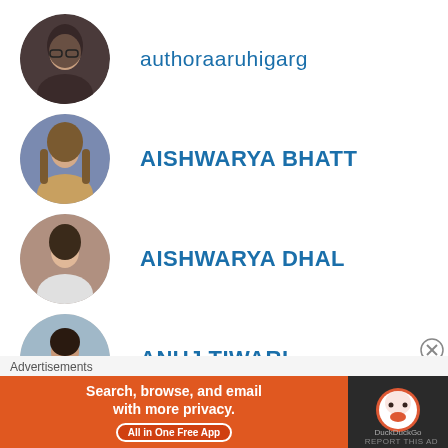authoraaruhigarg
AISHWARYA BHATT
AISHWARYA DHAL
ANUJ TIWARI
ASTHA Pandey
Advertisements
Search, browse, and email with more privacy. All in One Free App
DuckDuckGo
REPORT THIS AD